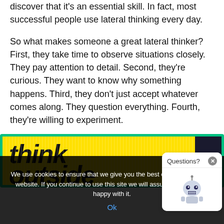discover that it's an essential skill. In fact, most successful people use lateral thinking every day.
So what makes someone a great lateral thinker? First, they take time to observe situations closely. They pay attention to detail. Second, they're curious. They want to know why something happens. Third, they don't just accept whatever comes along. They question everything. Fourth, they're willing to experiment.
[Figure (screenshot): Yellow and dark banner with stylized bold text 'think outside' in retro/decorative style font]
We use cookies to ensure that we give you the best experience on our website. If you continue to use this site we will assume that you are happy with it.
Ok
[Figure (screenshot): Chat widget popup with 'Questions?' header, close button, and robot avatar icon]